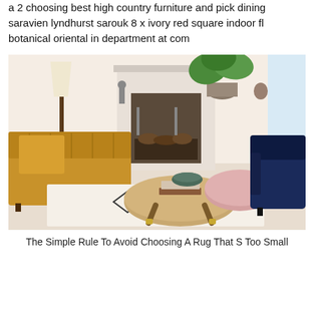a 2 choosing best high country furniture and pick dining saravien lyndhurst sarouk 8 x ivory red square indoor fl botanical oriental in department at com
[Figure (photo): Interior living room scene with a gold/mustard tufted velvet sofa on the left, a round wooden coffee table in the center with books and a dark bowl on top, a pink ottoman in the background, a navy blue barrel chair on the right, a white fireplace in the background, a large green leaf plant, and a white patterned area rug with geometric diamond and cross motifs.]
The Simple Rule To Avoid Choosing A Rug That S Too Small